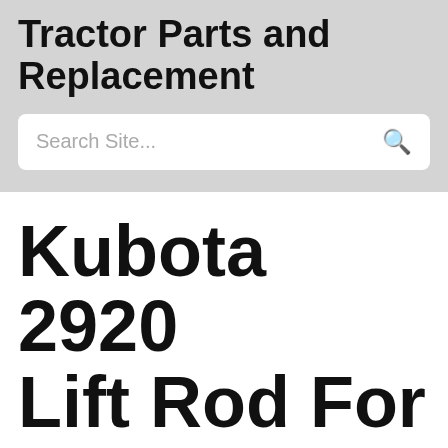Tractor Parts and Replacement
Search Site...
Kubota 2920 Lift Rod For